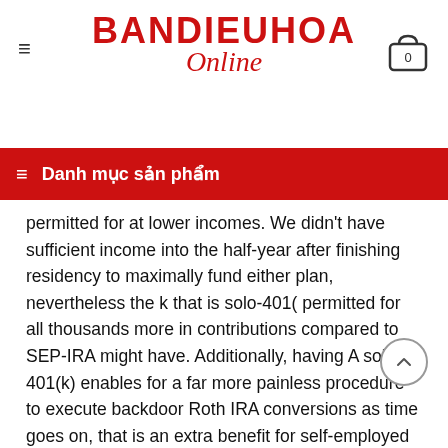BANDIEUHOA Online
Danh mục sản phẩm
permitted for at lower incomes. We didn't have sufficient income into the half-year after finishing residency to maximally fund either plan, nevertheless the k that is solo-401( permitted for all thousands more in contributions compared to SEP-IRA might have. Additionally, having A solo-401(k) enables for a far more painless procedure to execute backdoor Roth IRA conversions as time goes on, that is an extra benefit for self-employed doctors.
In the long run, our year-end income tax bill had been many times bigger than our past year's taxation liability (don't forget, the very first quarterly income tax repayment for the present 12 months can also be due on April 15! ). While composing this type of check that is large the IRS on April